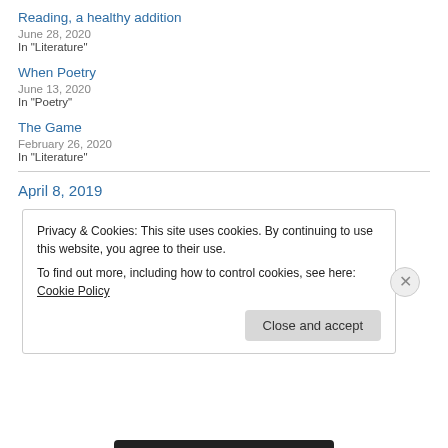Reading, a healthy addition
June 28, 2020
In "Literature"
When Poetry
June 13, 2020
In "Poetry"
The Game
February 26, 2020
In "Literature"
April 8, 2019
Privacy & Cookies: This site uses cookies. By continuing to use this website, you agree to their use.
To find out more, including how to control cookies, see here: Cookie Policy
Close and accept